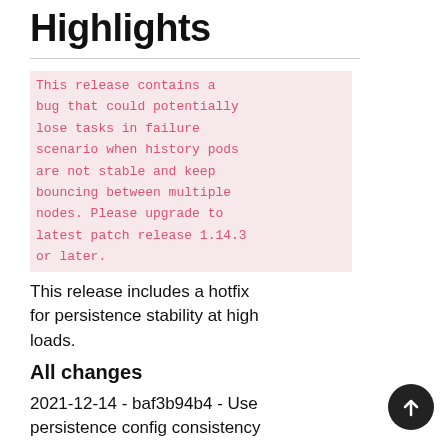Highlights
This release contains a bug that could potentially lose tasks in failure scenario when history pods are not stable and keep bouncing between multiple nodes. Please upgrade to latest patch release 1.14.3 or later.
This release includes a hotfix for persistence stability at high loads.
All changes
2021-12-14 - baf3b94b4 - Use persistence config consistency